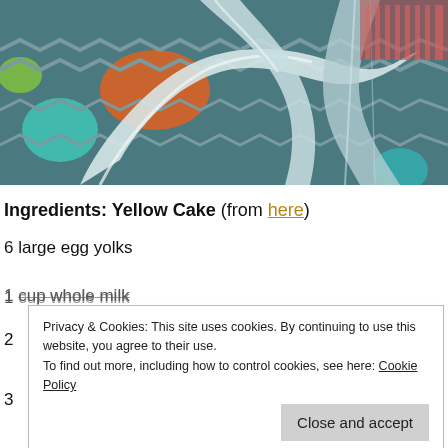[Figure (photo): Close-up photo of shiny metallic/silver ribbon or fabric curled over a colorful chevron-patterned background with teal, orange, green, and red circles]
Ingredients: Yellow Cake (from here)
6 large egg yolks
1 cup whole milk
2
3
Privacy & Cookies: This site uses cookies. By continuing to use this website, you agree to their use. To find out more, including how to control cookies, see here: Cookie Policy